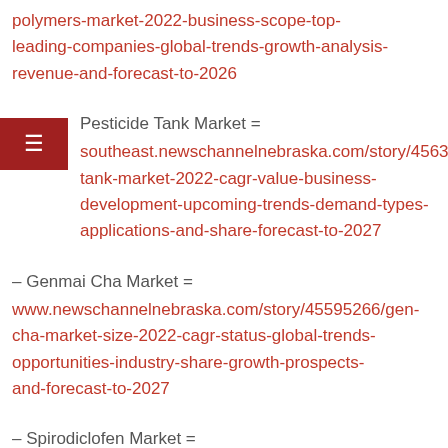polymers-market-2022-business-scope-top-leading-companies-global-trends-growth-analysis-revenue-and-forecast-to-2026
Pesticide Tank Market = southeast.newschannelnebraska.com/story/45633883/tank-market-2022-cagr-value-business-development-upcoming-trends-demand-types-applications-and-share-forecast-to-2027
– Genmai Cha Market = www.newschannelnebraska.com/story/45595266/gen-cha-market-size-2022-cagr-status-global-trends-opportunities-industry-share-growth-prospects-and-forecast-to-2027
– Spirodiclofen Market =